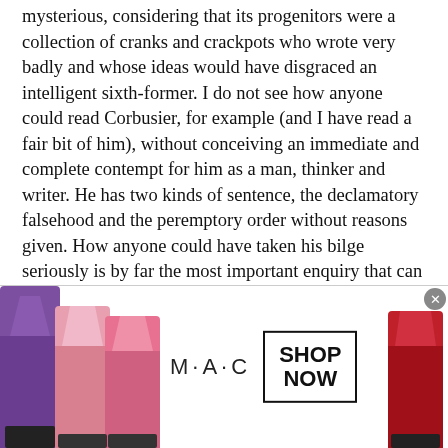mysterious, considering that its progenitors were a collection of cranks and crackpots who wrote very badly and whose ideas would have disgraced an intelligent sixth-former. I do not see how anyone could read Corbusier, for example (and I have read a fair bit of him), without conceiving an immediate and complete contempt for him as a man, thinker and writer. He has two kinds of sentence, the declamatory falsehood and the peremptory order without reasons given. How anyone could have taken his bilge seriously is by far the most important enquiry that can be made about him. I could not help but recall the words of Gibbon's famous fifteenth chapter, which I have here slightly adapted:
Our curiosity is naturally prompted to inquire by what means architectural modernism obtained so
[Figure (photo): MAC Cosmetics advertisement banner showing lipsticks in purple, pink, and red on left and right sides, MAC logo in center with 'SHOP NOW' box, and a close (X) button in upper right corner.]